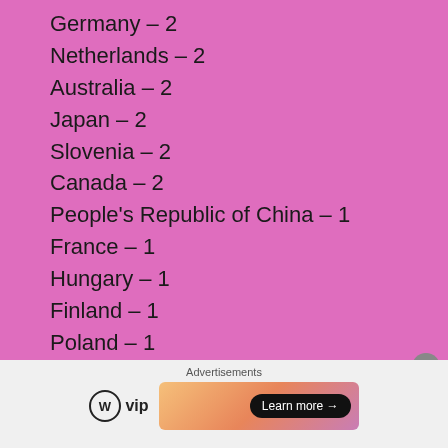Germany – 2
Netherlands – 2
Australia – 2
Japan – 2
Slovenia – 2
Canada – 2
People's Republic of China – 1
France – 1
Hungary – 1
Finland – 1
Poland – 1
Advertisements